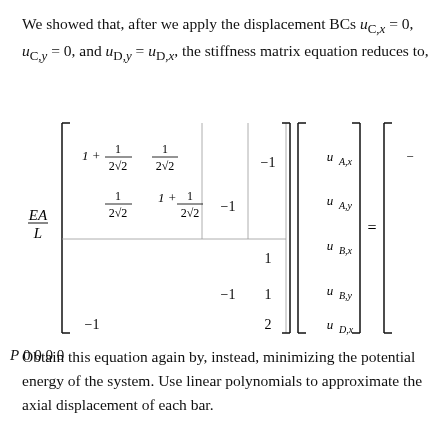We showed that, after we apply the displacement BCs u_{C,x} = 0, u_{C,y} = 0, and u_{D,y} = u_{D,x}, the stiffness matrix equation reduces to,
Obtain this equation again by, instead, minimizing the potential energy of the system. Use linear polynomials to approximate the axial displacement of each bar.